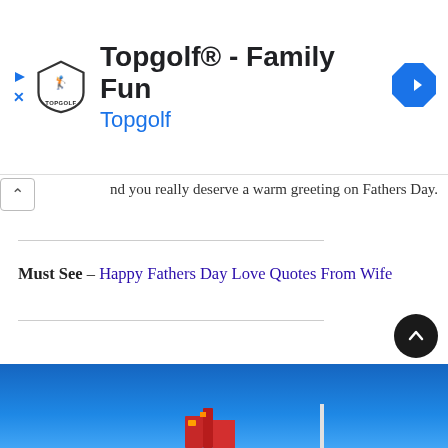[Figure (screenshot): Topgolf advertisement banner with shield logo, title 'Topgolf® - Family Fun', subtitle 'Topgolf', navigation arrow icon, play and close buttons on left]
nd you really deserve a warm greeting on Fathers Day.
Must See – Happy Fathers Day Love Quotes From Wife
[Figure (photo): Blue sky background with partial view of a colorful structure at bottom]